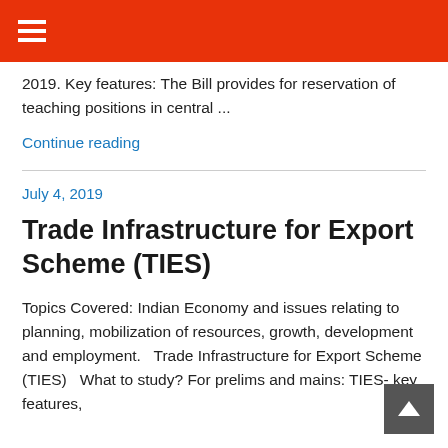☰
2019. Key features: The Bill provides for reservation of teaching positions in central ...
Continue reading
July 4, 2019
Trade Infrastructure for Export Scheme (TIES)
Topics Covered: Indian Economy and issues relating to planning, mobilization of resources, growth, development and employment.  Trade Infrastructure for Export Scheme (TIES)  What to study? For prelims and mains: TIES- key features,